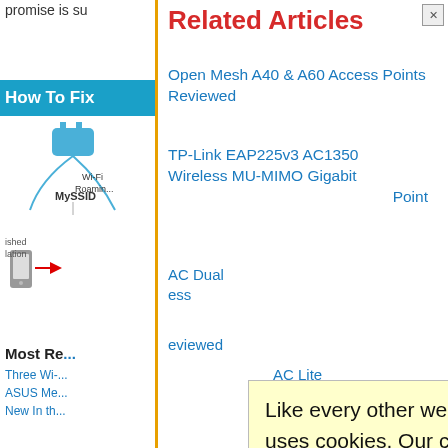promise is su
Related Articles
Open Mesh A40 & A60 Access Points Reviewed
TP-Link EAP225v3 AC1350 Wireless MU-MIMO Gigabit ... Point
How To Fix
[Figure (illustration): Wi-Fi Roaming diagram with MySSID label and network device icons]
AC Dual ... ess
... eviewed
Most Re...
Three Wi-...
ASUS Me...
New In th...
AC Lite ... wed
Like every other website on the planet, SmallNetBuilder uses cookies. Our cookies track login status, but we only allow admins to log in anyway, so those don't apply to you. Any other cookies you pick up during your visit come from advertisers, which we don't control.
If you continue to use the site, you agree to tolerate our use of cookies. Thank you!